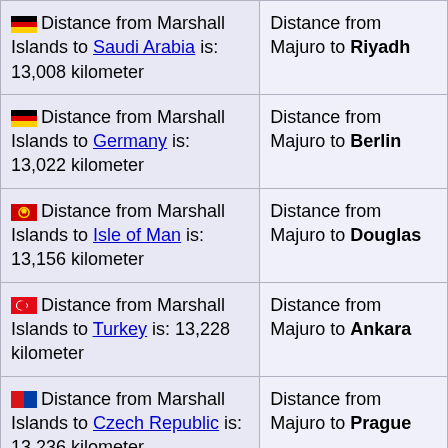| Distance | Capital |
| --- | --- |
| Distance from Marshall Islands to Saudi Arabia is: 13,008 kilometer | Distance from Majuro to Riyadh |
| Distance from Marshall Islands to Germany is: 13,022 kilometer | Distance from Majuro to Berlin |
| Distance from Marshall Islands to Isle of Man is: 13,156 kilometer | Distance from Majuro to Douglas |
| Distance from Marshall Islands to Turkey is: 13,228 kilometer | Distance from Majuro to Ankara |
| Distance from Marshall Islands to Czech Republic is: 13,236 kilometer | Distance from Majuro to Prague |
| Distance from Marshall Islands to Netherlands is: 13,241 kilometer | Distance from Majuro to Amsterdam |
| Distance from Marshall Islands to Ireland is: 13,254 kilometer | Distance from Majuro to ... |